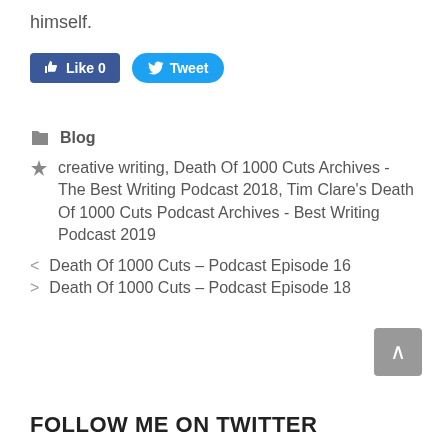himself.
[Figure (screenshot): Social media buttons: Facebook Like (count 0) and Twitter Tweet buttons]
Blog
creative writing, Death Of 1000 Cuts Archives - The Best Writing Podcast 2018, Tim Clare's Death Of 1000 Cuts Podcast Archives - Best Writing Podcast 2019
< Death Of 1000 Cuts – Podcast Episode 16
> Death Of 1000 Cuts – Podcast Episode 18
FOLLOW ME ON TWITTER